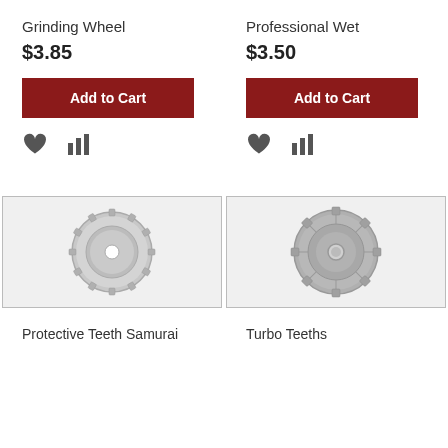Grinding Wheel
$3.85
Add to Cart
Professional Wet
$3.50
Add to Cart
[Figure (photo): Circular saw blade / grinding wheel with teeth, silver metallic, on grey background]
[Figure (photo): Circular turbo blade / grinding wheel, darker grey metallic, on grey background]
Protective Teeth Samurai
Turbo Teeths